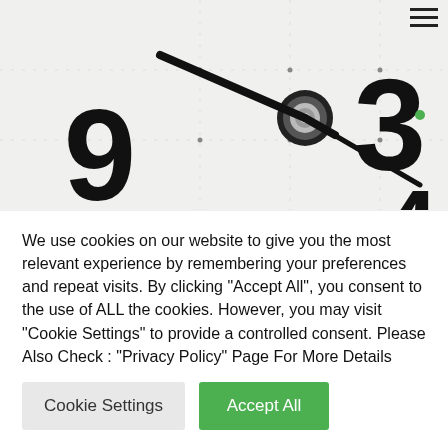☰
[Figure (photo): Close-up photo of a clock face showing numbers 9, 3, and partial view of clock hands with a metallic center knob. Black hands on a white clock face.]
How We Can Stop The Time – Ti...
We use cookies on our website to give you the most relevant experience by remembering your preferences and repeat visits. By clicking "Accept All", you consent to the use of ALL the cookies. However, you may visit "Cookie Settings" to provide a controlled consent. Please Also Check : "Privacy Policy" Page For More Details
Cookie Settings | Accept All